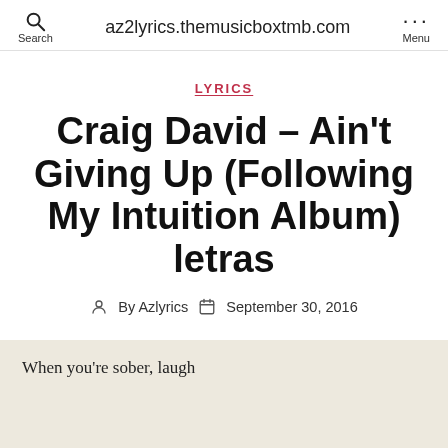az2lyrics.themusicboxtmb.com
LYRICS
Craig David – Ain't Giving Up (Following My Intuition Album) letras
By Azlyrics  September 30, 2016
When you're sober, laugh